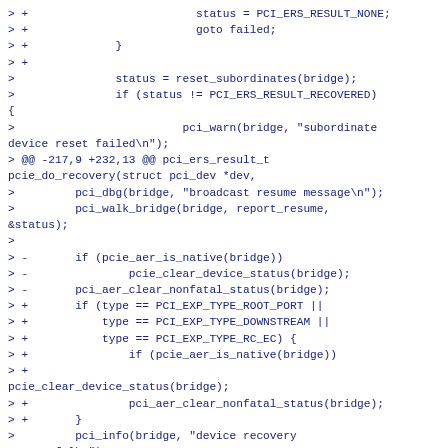> +                         status = PCI_ERS_RESULT_NONE;
> +                         goto failed;
> +             }
> +
>               status = reset_subordinates(bridge);
>               if (status != PCI_ERS_RESULT_RECOVERED)
{
>                         pci_warn(bridge, "subordinate device reset failed\n");
> @@ -217,9 +232,13 @@ pci_ers_result_t pcie_do_recovery(struct pci_dev *dev,
>         pci_dbg(bridge, "broadcast resume message\n");
>         pci_walk_bridge(bridge, report_resume, &status);
>
> -       if (pcie_aer_is_native(bridge))
> -               pcie_clear_device_status(bridge);
> -       pci_aer_clear_nonfatal_status(bridge);
> +       if (type == PCI_EXP_TYPE_ROOT_PORT ||
> +           type == PCI_EXP_TYPE_DOWNSTREAM ||
> +           type == PCI_EXP_TYPE_RC_EC) {
> +               if (pcie_aer_is_native(bridge))
> +
pcie_clear_device_status(bridge);
> +               pci_aer_clear_nonfatal_status(bridge);
> +       }
>         pci_info(bridge, "device recovery successful\n");
>         return status;
>